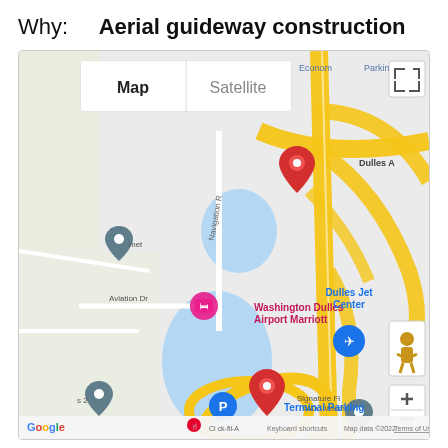Why:    Aerial guideway construction
[Figure (map): Google Maps screenshot showing the area around Washington Dulles Airport Marriott and Terminal Parking near Dulles Airport (IAD). Two red location pins are visible — one near Rudder Rd/Dulles Access Rd interchange, one near Saarinen Cir/Terminal Parking. Blue pin marks Terminal Parking (P). Pink marker for Washington Dulles Airport Marriott. Blue plane icon for Dulles Jet Center. Gray location pins for nearby streets/areas. Roads shown include Navigation Rd, Aviation Dr, Saarinen Cir. Map controls visible: Map/Satellite toggle, zoom +/-, fullscreen, Street View pegman. Bottom bar shows Google logo, Chick-fil-A icon, Keyboard shortcuts, Map data ©2022, Terms of Use.]